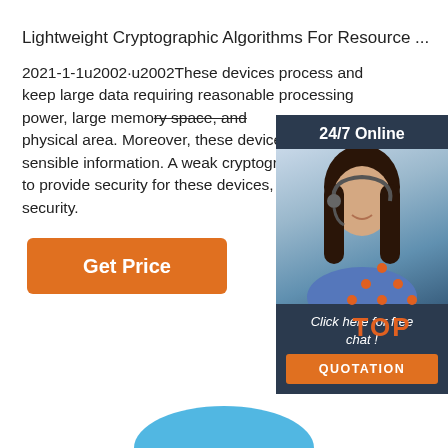Lightweight Cryptographic Algorithms For Resource ...
2021-1-1u2002·u2002These devices process and keep large data requiring reasonable processing power, large memory space, and physical area. Moreover, these devices also transfo... sensible information. A weak cryptographic algorithm... to provide security for these devices, and adversary... security.
[Figure (other): Orange 'Get Price' button]
[Figure (other): 24/7 online chat widget with customer service representative photo, 'Click here for free chat!' text, and orange QUOTATION button]
[Figure (logo): Orange dotted triangle TOP logo in bottom right area]
[Figure (other): Blue rounded shape at bottom center of page]